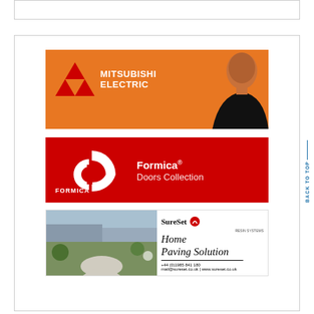[Figure (logo): Mitsubishi Electric advertisement banner with orange background, Mitsubishi logo, brand name text, and man in black shirt]
[Figure (logo): Formica Doors Collection advertisement with red background, Formica logo and text]
[Figure (illustration): SureSet Resin Systems home paving solution ad with garden photo on left and text/contact info on right]
BACK TO TOP